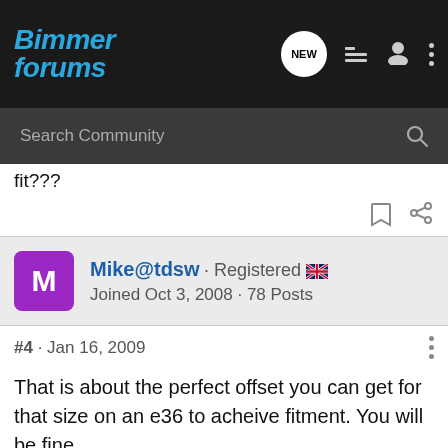Bimmer Forums - Search Community
fit???
Mike@tdsw · Registered [UK flag] Joined Oct 3, 2008 · 78 Posts
#4 · Jan 16, 2009
That is about the perfect offset you can get for that size on an e36 to acheive fitment. You will be fine.